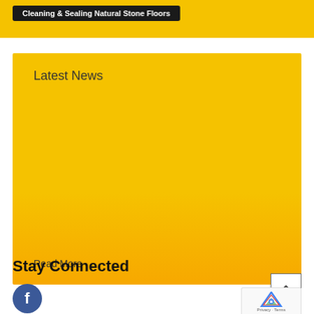Cleaning & Sealing Natural Stone Floors
Latest News
Read More
Stay Connected
[Figure (logo): Facebook icon — blue circle with white 'f' logo]
[Figure (other): reCAPTCHA widget with blue/red logo and Privacy · Terms text]